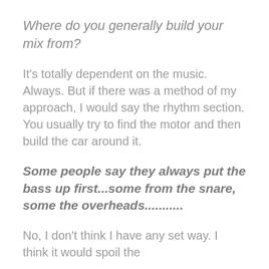Where do you generally build your mix from?
It’s totally dependent on the music. Always. But if there was a method of my approach, I would say the rhythm section. You usually try to find the motor and then build the car around it.
Some people say they always put the bass up first...some from the snare, some the overheads..........
No, I don’t think I have any set way. I think it would spoil the